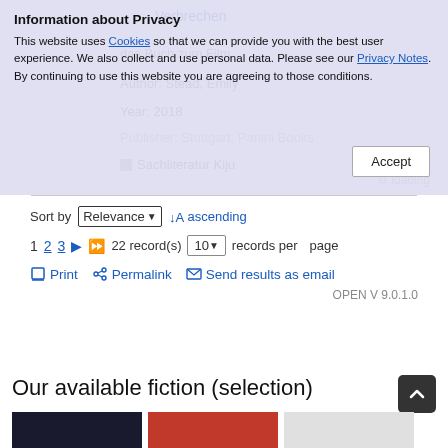Information about Privacy
This website uses Cookies so that we can provide you with the best user experience. We also collect and use personal data. Please see our Privacy Notes. By continuing to use this website you are agreeing to those conditions.
Accept
Sort by Relevance ↓ ascending
1 2 3 ▶ ⏭ 22 record(s) 10 records per page
Print  Permalink  Send results as email
OPEN V 9.0.1.0
Our available fiction (selection)